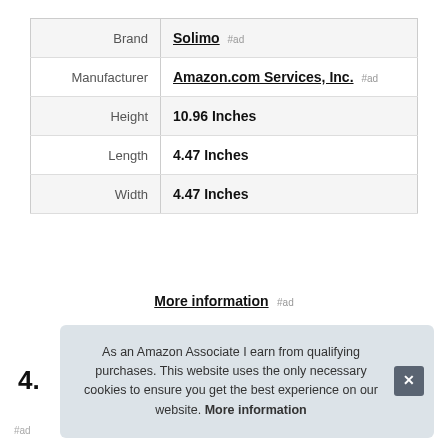|  |  |
| --- | --- |
| Brand | Solimo #ad |
| Manufacturer | Amazon.com Services, Inc. #ad |
| Height | 10.96 Inches |
| Length | 4.47 Inches |
| Width | 4.47 Inches |
More information #ad
4.
As an Amazon Associate I earn from qualifying purchases. This website uses the only necessary cookies to ensure you get the best experience on our website. More information